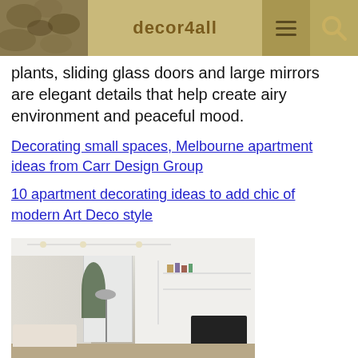decor4all
plants, sliding glass doors and large mirrors are elegant details that help create airy environment and peaceful mood.
Decorating small spaces, Melbourne apartment ideas from Carr Design Group
10 apartment decorating ideas to add chic of modern Art Deco style
[Figure (photo): Interior photo of a modern apartment living room with white walls, sliding frosted glass doors, a tall indoor plant, built-in shelving unit on the right wall with books, a floor lamp, and a sofa in the foreground.]